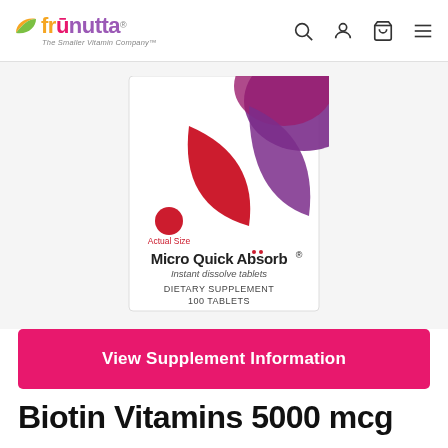frunutta — The Smaller Vitamin Company™
[Figure (photo): Frunutta Micro Quick Absorb Biotin 5000 mcg product box — white box with red and purple leaf design, showing 'Actual Size' red circle tablet, 'Micro Quick Absorb® Instant dissolve tablets', 'DIETARY SUPPLEMENT 100 TABLETS']
View Supplement Information
Biotin Vitamins 5000 mcg